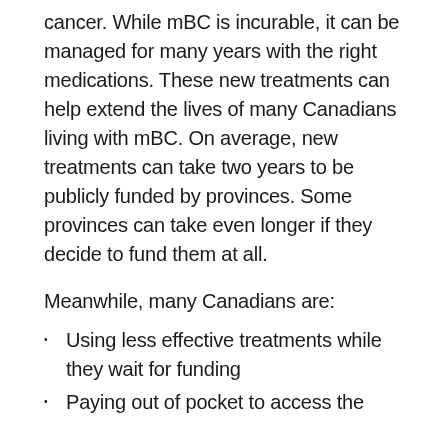cancer. While mBC is incurable, it can be managed for many years with the right medications. These new treatments can help extend the lives of many Canadians living with mBC. On average, new treatments can take two years to be publicly funded by provinces. Some provinces can take even longer if they decide to fund them at all.
Meanwhile, many Canadians are:
Using less effective treatments while they wait for funding
Paying out of pocket to access the